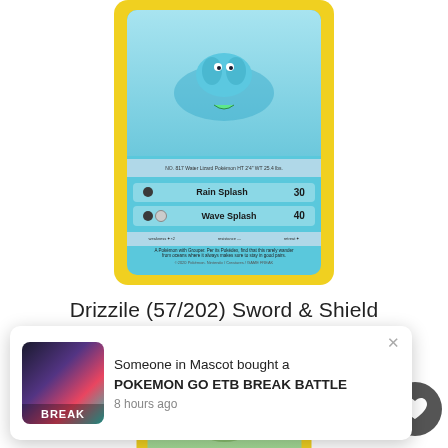[Figure (photo): Pokemon card for Drizzile (57/202) from Sword & Shield set. Card shows a blue water-type Pokemon with Rain Splash (30 damage) and Wave Splash (40 damage) attacks. Yellow card border with light blue background.]
Drizzile (57/202) Sword & Shield
From $0.85 AUD
SEE OPTIONS
[Figure (screenshot): Social proof notification popup showing: Someone in Mascot bought a POKEMON GO ETB BREAK BATTLE, 8 hours ago. Includes thumbnail of a colorful break battle product image with BREAK text.]
[Figure (photo): Partial view of another Pokemon card at the bottom of the page, showing a partial green-background card.]